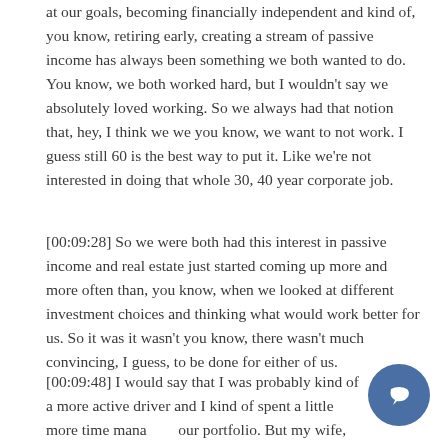at our goals, becoming financially independent and kind of, you know, retiring early, creating a stream of passive income has always been something we both wanted to do. You know, we both worked hard, but I wouldn't say we absolutely loved working. So we always had that notion that, hey, I think we we you know, we want to not work. I guess still 60 is the best way to put it. Like we're not interested in doing that whole 30, 40 year corporate job.
[00:09:28] So we were both had this interest in passive income and real estate just started coming up more and more often than, you know, when we looked at different investment choices and thinking what would work better for us. So it was it wasn't you know, there wasn't much convincing, I guess, to be done for either of us.
[00:09:48] I would say that I was probably kind of a more active driver and I kind of spent a little more time managing our portfolio. But my wife, you know, she's supportive. She definitely helps out. So I thankfully for me, I guess I didn't have